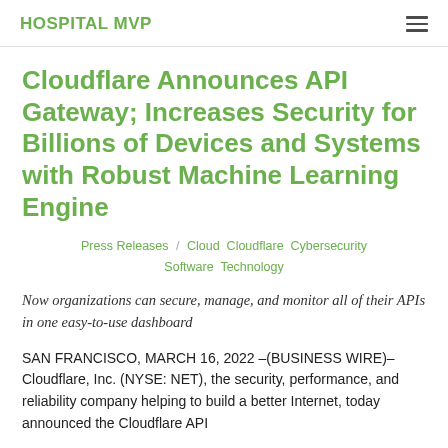HOSPITAL MVP
Cloudflare Announces API Gateway; Increases Security for Billions of Devices and Systems with Robust Machine Learning Engine
Press Releases / Cloud  Cloudflare  Cybersecurity  Software  Technology
Now organizations can secure, manage, and monitor all of their APIs in one easy-to-use dashboard
SAN FRANCISCO, MARCH 16, 2022 –(BUSINESS WIRE)– Cloudflare, Inc. (NYSE: NET), the security, performance, and reliability company helping to build a better Internet, today announced the Cloudflare API